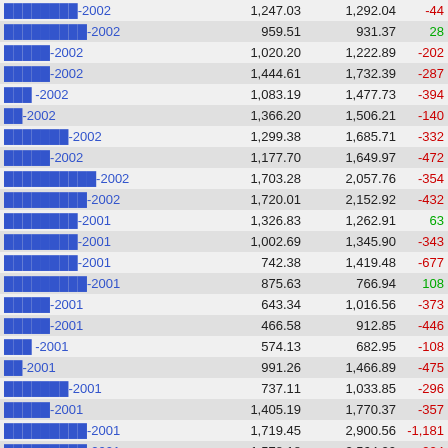| Name | Col2 | Col3 | Diff |
| --- | --- | --- | --- |
| ████████-2002 | 1,247.03 | 1,292.04 | -44 |
| █████████-2002 | 959.51 | 931.37 | 28 |
| █████-2002 | 1,020.20 | 1,222.89 | -202 |
| █████-2002 | 1,444.61 | 1,732.39 | -287 |
| ███ -2002 | 1,083.19 | 1,477.73 | -394 |
| ██-2002 | 1,366.20 | 1,506.21 | -140 |
| ███████-2002 | 1,299.38 | 1,685.71 | -332 |
| █████-2002 | 1,177.70 | 1,649.97 | -472 |
| ██████████-2002 | 1,703.28 | 2,057.76 | -354 |
| █████████-2002 | 1,720.01 | 2,152.92 | -432 |
| ████████-2001 | 1,326.83 | 1,262.91 | 63 |
| ████████-2001 | 1,002.69 | 1,345.90 | -343 |
| ████████-2001 | 742.38 | 1,419.48 | -677 |
| █████████-2001 | 875.63 | 766.94 | 108 |
| █████-2001 | 643.34 | 1,016.56 | -373 |
| █████-2001 | 466.58 | 912.85 | -446 |
| ███ -2001 | 574.13 | 682.95 | -108 |
| ██-2001 | 991.26 | 1,466.89 | -475 |
| ███████-2001 | 737.11 | 1,033.85 | -296 |
| █████-2001 | 1,405.19 | 1,770.37 | -357 |
| █████████-2001 | 1,719.45 | 2,900.56 | -1,181 |
| █████████-2001 | 1,578.18 | 2,564.20 | -924 |
| █████████-2000 | 1,764.88 | 1,753.67 | 11 |